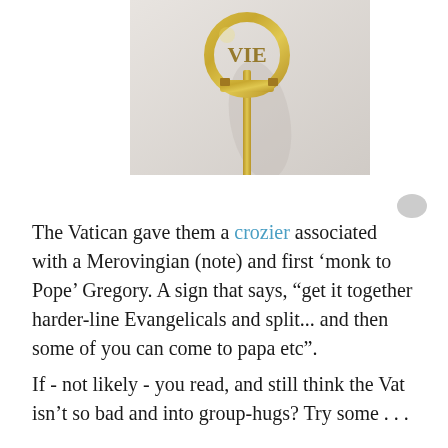[Figure (photo): Close-up photograph of a golden crozier (bishop's staff head) with ornate carved lettering, mounted on a thin gold rod, shown against a light gray background with a slight shadow.]
The Vatican gave them a crozier associated with a Merovingian (note) and first ‘monk to Pope’ Gregory. A sign that says, “get it together harder-line Evangelicals and split... and then some of you can come to papa etc”.
If - not likely - you read, and still think the Vat isn’t so bad and into group-hugs? Try some . . .